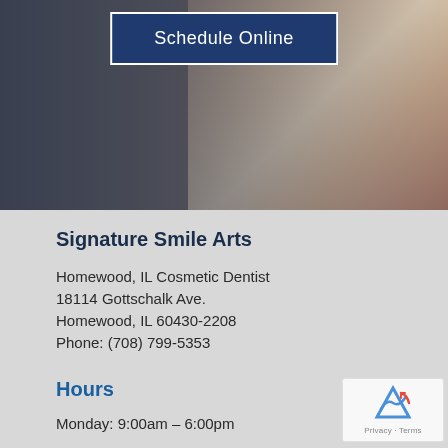[Figure (photo): Hero image showing a smiling woman with a dark overlay on the left side and a 'Schedule Online' button overlay]
Signature Smile Arts
Homewood, IL Cosmetic Dentist
18114 Gottschalk Ave.
Homewood, IL 60430-2208
Phone: (708) 799-5353
Hours
Monday: 9:00am – 6:00pm